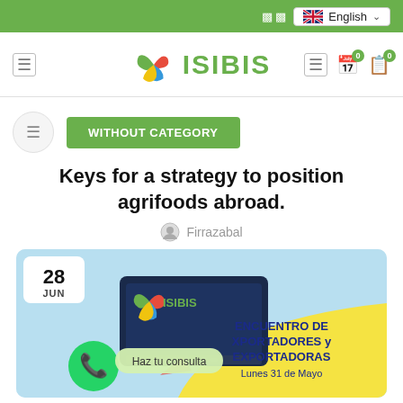English
[Figure (logo): ISIBIS logo with colorful leaf/circle icon and green ISIBIS text]
WITHOUT CATEGORY
Keys for a strategy to position agrifoods abroad.
Firrazabal
[Figure (infographic): ISIBIS branded event infographic showing date 28 JUN, WhatsApp consultation button, ISIBIS logo on screen, text: ENCUENTRO DE XPORTADORES y EXPORTADORAS, Lunes 31 de Mayo]